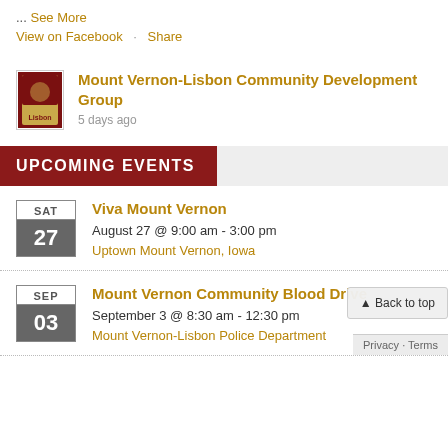... See More
View on Facebook · Share
Mount Vernon-Lisbon Community Development Group
5 days ago
UPCOMING EVENTS
SAT 27
Viva Mount Vernon
August 27 @ 9:00 am - 3:00 pm
Uptown Mount Vernon, Iowa
SEP 03
Mount Vernon Community Blood Drive
September 3 @ 8:30 am - 12:30 pm
Mount Vernon-Lisbon Police Department